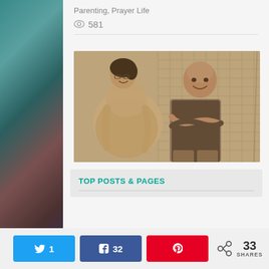Parenting, Prayer Life
581
[Figure (photo): Sepia-toned photo of a pregnant woman and a bald man sitting on a porch swing. The woman is smiling and looking at the man; the man has his arms crossed and is smiling back. House siding visible in background.]
TOP POSTS & PAGES
1
32
33 SHARES